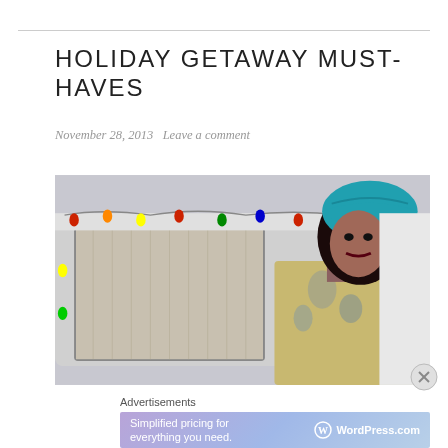HOLIDAY GETAWAY MUST-HAVES
November 28, 2013   Leave a comment
[Figure (photo): Woman wearing a teal turban-style hat and ornate jacket, standing in front of a vintage airstream trailer decorated with colorful Christmas lights.]
Advertisements
[Figure (screenshot): WordPress.com advertisement banner: 'Simplified pricing for everything you need.' with WordPress.com logo.]